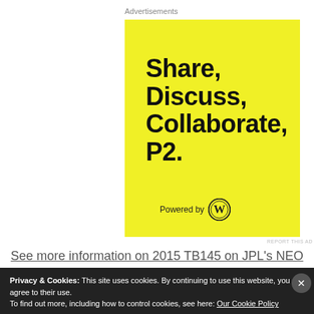Advertisements
[Figure (illustration): Yellow advertisement banner for P2 by WordPress. Text reads: Share, Discuss, Collaborate, P2. Powered by WordPress logo.]
REPORT THIS AD
See more information on 2015 TB145 on JPL's NEO
Privacy & Cookies: This site uses cookies. By continuing to use this website, you agree to their use.
To find out more, including how to control cookies, see here: Our Cookie Policy
Close and accept